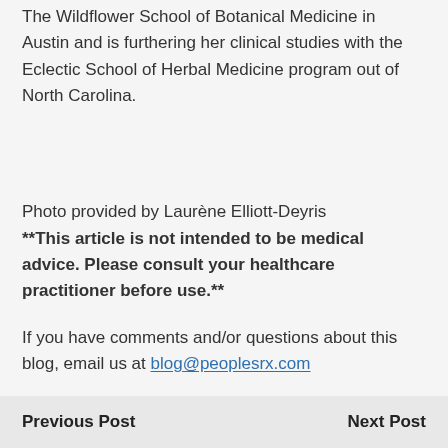The Wildflower School of Botanical Medicine in Austin and is furthering her clinical studies with the Eclectic School of Herbal Medicine program out of North Carolina.
Photo provided by Laurène Elliott-Deyris
**This article is not intended to be medical advice. Please consult your healthcare practitioner before use.**
If you have comments and/or questions about this blog, email us at blog@peoplesrx.com
Previous Post    Next Post